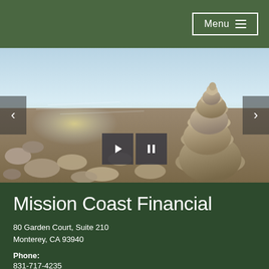Menu
[Figure (photo): A stack of balanced smooth pebbles/stones on a rocky beach with water and sunlight in the background, with slideshow navigation arrows and play/pause media controls overlaid.]
Mission Coast Financial
80 Garden Court, Suite 210
Monterey, CA 93940
Phone:
831-717-4235